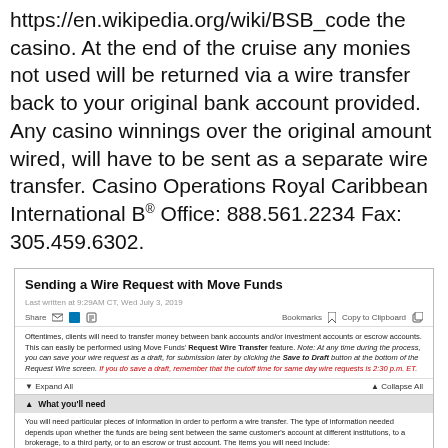https://en.wikipedia.org/wiki/BSB_code the casino. At the end of the cruise any monies not used will be returned via a wire transfer back to your original bank account provided. Any casino winnings over the original amount wired, will have to be sent as a separate wire transfer. Casino Operations Royal Caribbean International B® Office: 888.561.2234 Fax: 305.459.6302.
[Figure (screenshot): Screenshot of a help article titled 'Sending a Wire Request with Move Funds'. Contains metadata (last written date), share/bookmark toolbar, body text describing wire transfer process with bold 'Request Wire Transfer' and red italic warning about 2:30 p.m. ET cutoff, expand/collapse all controls, and a section header 'What you'll need' with introductory text about required information.]